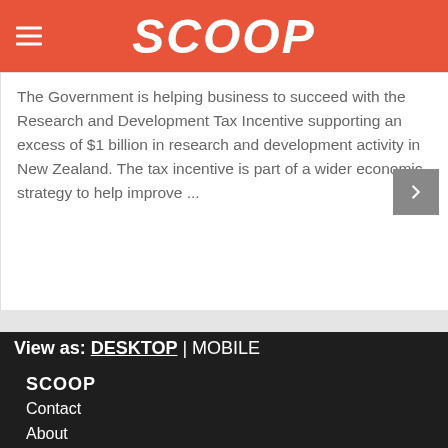SCOOP
The Government is helping business to succeed with the Research and Development Tax Incentive supporting an excess of $1 billion in research and development activity in New Zealand. The tax incentive is part of a wider economic strategy to help improve ...
View as: DESKTOP | MOBILE
SCOOP
Contact
About